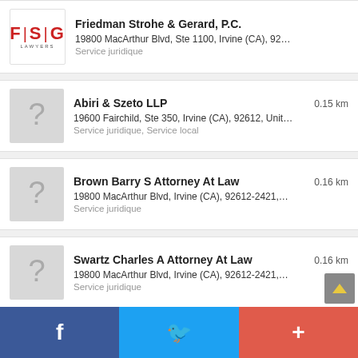Friedman Strohe & Gerard, P.C. — 19800 MacArthur Blvd, Ste 1100, Irvine (CA), 92... — Service juridique
Abiri & Szeto LLP — 0.15 km — 19600 Fairchild, Ste 350, Irvine (CA), 92612, Unit... — Service juridique, Service local
Brown Barry S Attorney At Law — 0.16 km — 19800 MacArthur Blvd, Irvine (CA), 92612-2421,... — Service juridique
Swartz Charles A Attorney At Law — 0.16 km — 19800 MacArthur Blvd, Irvine (CA), 92612-2421,... — Service juridique
Kendrick Jackson & Kearl — 0.16 km